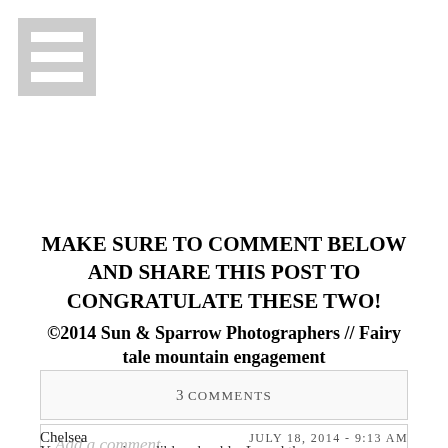[Figure (other): Hamburger menu icon — three horizontal white bars on a grey square background]
MAKE SURE TO COMMENT BELOW AND SHARE THIS POST TO CONGRATULATE THESE TWO!
©2014 Sun & Sparrow Photographers // Fairy tale mountain engagement
3 COMMENTS
Add a comment...
Chelsea
JULY 18, 2014 - 9:13 AM
You guys are incredibly adorable. Loved the